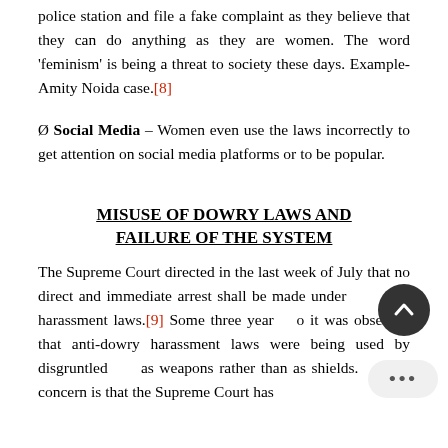police station and file a fake complaint as they believe that they can do anything as they are women. The word 'feminism' is being a threat to society these days. Example- Amity Noida case.[8]
Ø Social Media – Women even use the laws incorrectly to get attention on social media platforms or to be popular.
MISUSE OF DOWRY LAWS AND FAILURE OF THE SYSTEM
The Supreme Court directed in the last week of July that no direct and immediate arrest shall be made under harassment laws.[9] Some three years ago it was observed that anti-dowry harassment laws were being used by disgruntled as weapons rather than as shields. of concern is that the Supreme Court has